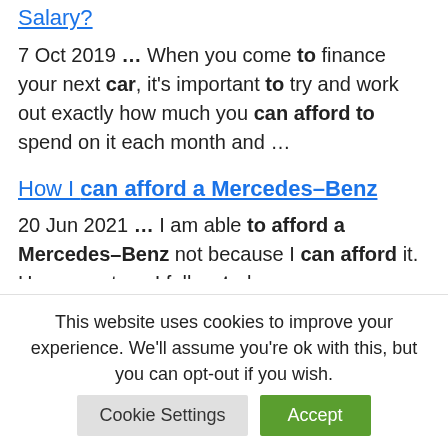Salary?
7 Oct 2019 … When you come to finance your next car, it's important to try and work out exactly how much you can afford to spend on it each month and …
How I can afford a Mercedes–Benz
20 Jun 2021 … I am able to afford a Mercedes–Benz not because I can afford it. Here are steps I follow to be
This website uses cookies to improve your experience. We'll assume you're ok with this, but you can opt-out if you wish.